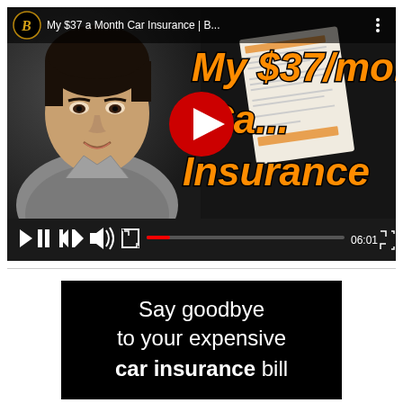[Figure (screenshot): YouTube video thumbnail and player showing a young Asian man on the left side and orange text overlay reading 'My $37/mon Car Insurance' with a YouTube play button in the center. The video title bar shows 'My $37 a Month Car Insurance | B...' with a channel icon. The player controls show a progress bar and time 06:01.]
[Figure (screenshot): Black card/image with white text reading 'Say goodbye to your expensive car insurance bill' where 'car insurance' is bold.]